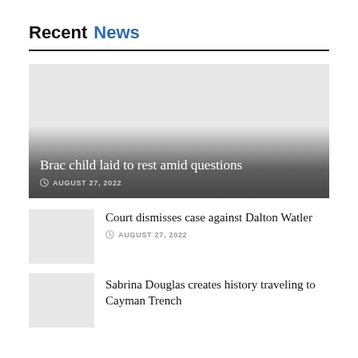Recent News
[Figure (photo): Featured news image placeholder with gradient overlay — Brac child laid to rest amid questions, August 27, 2022]
Brac child laid to rest amid questions — AUGUST 27, 2022
[Figure (photo): Small thumbnail image placeholder for Court dismisses case against Dalton Watler article]
Court dismisses case against Dalton Watler
AUGUST 27, 2022
[Figure (photo): Small thumbnail image placeholder for Sabrina Douglas creates history traveling to Cayman Trench article]
Sabrina Douglas creates history traveling to Cayman Trench